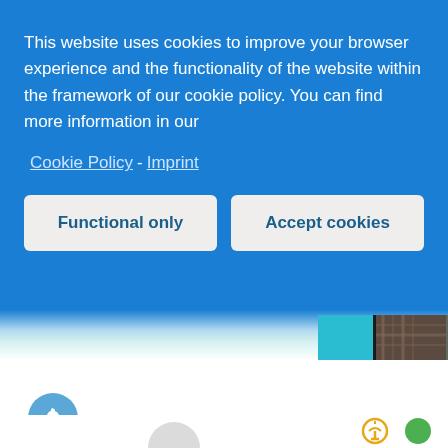This website uses cookies to improve your browser experience and the functionality of the website within the framework of our cookie policy. You can find more information in our
Cookie Policy - Imprint
Functional only
Accept cookies
[Figure (screenshot): Partial website screenshot showing a teal/blue background with a partial view of a person wearing a plaid shirt, visible from the waist down]
[Figure (illustration): Blue circular notification bell button icon]
[Figure (illustration): Small circular gray icon, partial faucet/tap icon in yellow, and green circle icon at the bottom of the page]